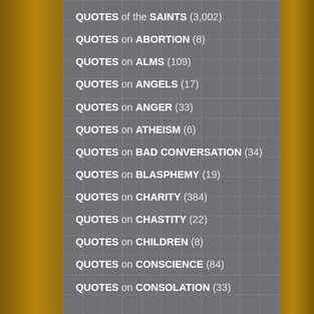QUOTES of the SAINTS (3,002)
QUOTES on ABORTION (8)
QUOTES on ALMS (109)
QUOTES on ANGELS (17)
QUOTES on ANGER (33)
QUOTES on ATHEISM (6)
QUOTES on BAD CONVERSATION (34)
QUOTES on BLASPHEMY (19)
QUOTES on CHARITY (384)
QUOTES on CHASTITY (22)
QUOTES on CHILDREN (8)
QUOTES on CONSCIENCE (84)
QUOTES on CONSOLATION (33)